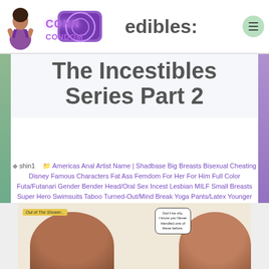Conn Condom — The Incestibles:
The Incestibles
Series Part 2
shin1  Americas Anal Artist Name | Shadbase Big Breasts Bisexual Cheating Disney Famous Characters Fat Ass Femdom For Her For Him Full Color Futa/Futanari Gender Bender Head/Oral Sex Incest Lesbian MILF Small Breasts Super Hero Swimsuits Taboo Turned-Out/Mind Break Yoga Pants/Latex Younger Girl  June 13, 2019 |  0
[Figure (illustration): Comic panel from The Incestibles Series Part 2. Shows two characters with reddish-brown hair. A yellow caption box reads 'Out of the Shower...' and a speech bubble on the right reads 'Don't be shy, I know you never handled one of these before.']